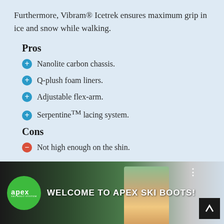Furthermore, Vibram® Icetrek ensures maximum grip in ice and snow while walking.
Pros
Nanolite carbon chassis.
Q-plush foam liners.
Adjustable flex-arm.
Serpentine™ lacing system.
Cons
Not high enough on the shin.
[Figure (screenshot): Video thumbnail showing Apex Ski Boots welcome video with person and green background, titled WELCOME TO APEX SKI BOOTS!]